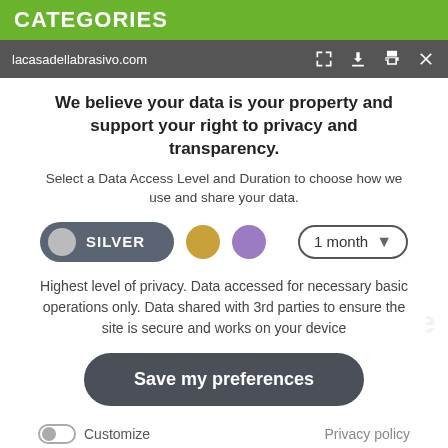CATEGORIES
lacasadellabrasivo.com
We believe your data is your property and support your right to privacy and transparency.
Select a Data Access Level and Duration to choose how we use and share your data.
[Figure (infographic): Privacy level selector: SILVER pill toggle button, gold circle, purple circle, and a '1 month' dropdown]
Highest level of privacy. Data accessed for necessary basic operations only. Data shared with 3rd parties to ensure the site is secure and works on your device
Save my preferences
Customize  Privacy policy